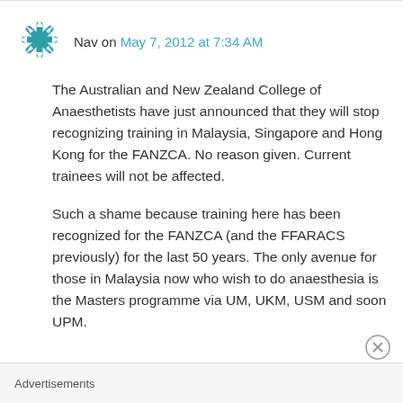[Figure (logo): Teal starburst/snowflake avatar icon for user Nav]
Nav on May 7, 2012 at 7:34 AM
The Australian and New Zealand College of Anaesthetists have just announced that they will stop recognizing training in Malaysia, Singapore and Hong Kong for the FANZCA. No reason given. Current trainees will not be affected.
Such a shame because training here has been recognized for the FANZCA (and the FFARACS previously) for the last 50 years. The only avenue for those in Malaysia now who wish to do anaesthesia is the Masters programme via UM, UKM, USM and soon UPM.
Advertisements